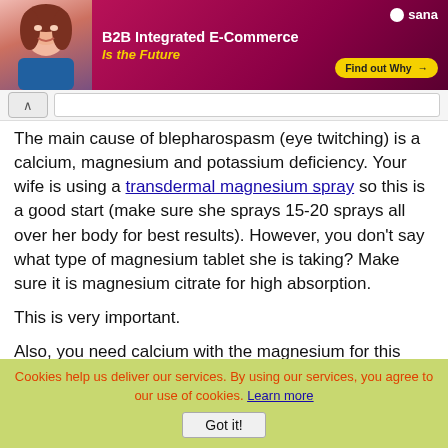[Figure (photo): Advertisement banner: B2B Integrated E-Commerce Is the Future, with woman photo and Find out Why button, Sana logo]
The main cause of blepharospasm (eye twitching) is a calcium, magnesium and potassium deficiency. Your wife is using a transdermal magnesium spray so this is a good start (make sure she sprays 15-20 sprays all over her body for best results). However, you don't say what type of magnesium tablet she is taking? Make sure it is magnesium citrate for high absorption.
This is very important.
Also, you need calcium with the magnesium for this remedy to work. Coral calcium is highly effective and contains the right ratio of calcium to
Cookies help us deliver our services. By using our services, you agree to our use of cookies. Learn more